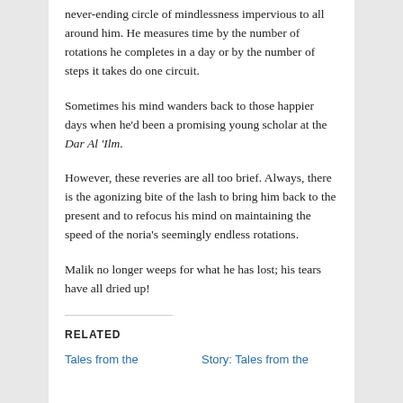never-ending circle of mindlessness impervious to all around him. He measures time by the number of rotations he completes in a day or by the number of steps it takes do one circuit.
Sometimes his mind wanders back to those happier days when he'd been a promising young scholar at the Dar Al 'Ilm.
However, these reveries are all too brief. Always, there is the agonizing bite of the lash to bring him back to the present and to refocus his mind on maintaining the speed of the noria's seemingly endless rotations.
Malik no longer weeps for what he has lost; his tears have all dried up!
RELATED
Tales from the
Story: Tales from the